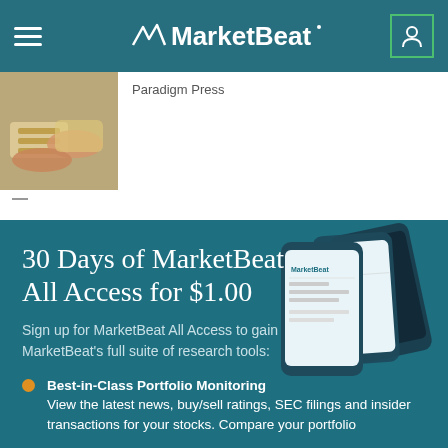MarketBeat
Paradigm Press
[Figure (photo): Hands exchanging money (cash/bills), thumbnail image]
30 Days of MarketBeat All Access for $1.00
Sign up for MarketBeat All Access to gain access to MarketBeat's full suite of research tools:
Best-in-Class Portfolio Monitoring  View the latest news, buy/sell ratings, SEC filings and insider transactions for your stocks. Compare your portfolio